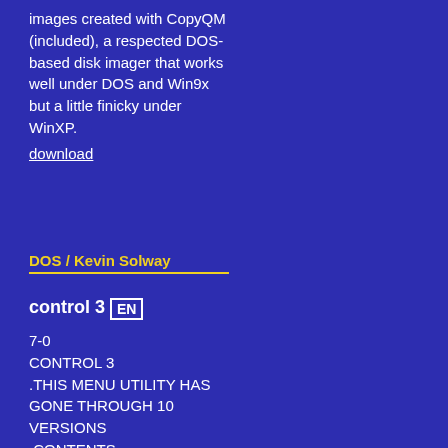images created with CopyQM (included), a respected DOS-based disk imager that works well under DOS and Win9x but a little finicky under WinXP. download
DOS / Kevin Solway
control 3 EN
7-0 CONTROL 3 .THIS MENU UTILITY HAS GONE THROUGH 10 VERSIONS .CONTENTS .lists three directories.editor and file viewer.any dos command